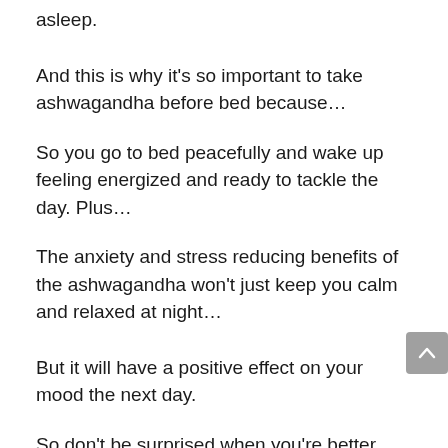asleep.
And this is why it's so important to take ashwagandha before bed because…
So you go to bed peacefully and wake up feeling energized and ready to tackle the day. Plus…
The anxiety and stress reducing benefits of the ashwagandha won't just keep you calm and relaxed at night…
But it will have a positive effect on your mood the next day.
So don't be surprised when you're better able to